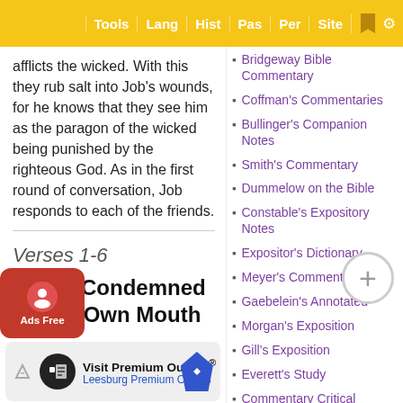Tools | Lang | Hist | Pas | Per | Site
afflicts the wicked. With this they rub salt into Job's wounds, for he knows that they see him as the paragon of the wicked being punished by the righteous God. As in the first round of conversation, Job responds to each of the friends.
Verses 1-6
Job Is Condemned by His Own Mouth
In this ... discuss people's
Bridgeway Bible Commentary
Coffman's Commentaries
Bullinger's Companion Notes
Smith's Commentary
Dummelow on the Bible
Constable's Expository Notes
Expositor's Dictionary
Meyer's Commentary
Gaebelein's Annotated
Morgan's Exposition
Gill's Exposition
Everett's Study
Commentary Critical
Commentary Critical (partial)